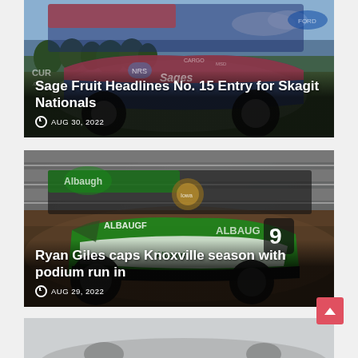[Figure (photo): Sprint car racing photo - Sage Fruit No. 15 car with blue/red livery on grass, blue sky background]
Sage Fruit Headlines No. 15 Entry for Skagit Nationals
AUG 30, 2022
[Figure (photo): Sprint car racing photo - Ryan Giles Albaugh No. 9 car on dirt track at Knoxville]
Ryan Giles caps Knoxville season with podium run in
AUG 29, 2022
[Figure (photo): Partial view of a third racing article card, partially cut off at the bottom of the page]